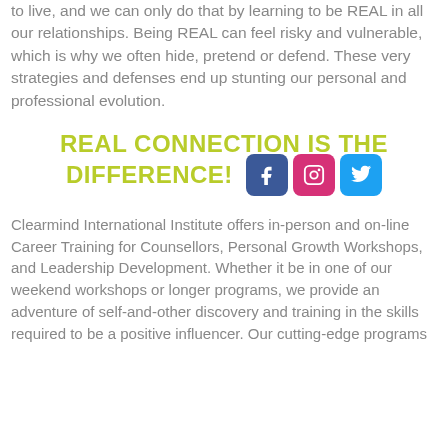to live, and we can only do that by learning to be REAL in all our relationships. Being REAL can feel risky and vulnerable, which is why we often hide, pretend or defend. These very strategies and defenses end up stunting our personal and professional evolution.
REAL CONNECTION IS THE DIFFERENCE!
[Figure (other): Social media icons: Facebook (blue rounded square), Instagram (pink/magenta rounded square), Twitter (light blue rounded square)]
Clearmind International Institute offers in-person and on-line Career Training for Counsellors, Personal Growth Workshops, and Leadership Development. Whether it be in one of our weekend workshops or longer programs, we provide an adventure of self-and-other discovery and training in the skills required to be a positive influencer. Our cutting-edge programs